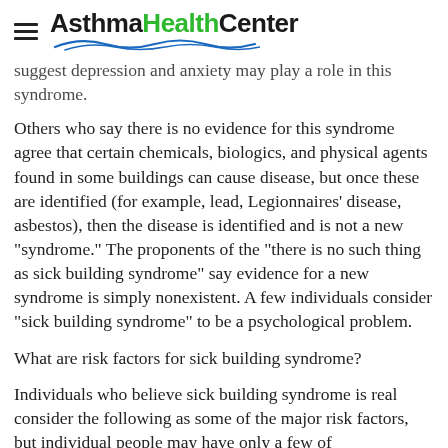AsthmaHealthCenter
suggest depression and anxiety may play a role in this syndrome.
Others who say there is no evidence for this syndrome agree that certain chemicals, biologics, and physical agents found in some buildings can cause disease, but once these are identified (for example, lead, Legionnaires' disease, asbestos), then the disease is identified and is not a new "syndrome." The proponents of the "there is no such thing as sick building syndrome" say evidence for a new syndrome is simply nonexistent. A few individuals consider "sick building syndrome" to be a psychological problem.
What are risk factors for sick building syndrome?
Individuals who believe sick building syndrome is real consider the following as some of the major risk factors, but individual people may have only a few of